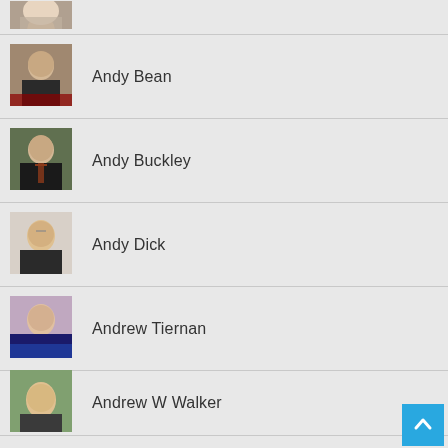[Figure (photo): Partial photo of a person at top of page, cropped]
Andy Bean
Andy Buckley
Andy Dick
Andrew Tiernan
Andrew W Walker